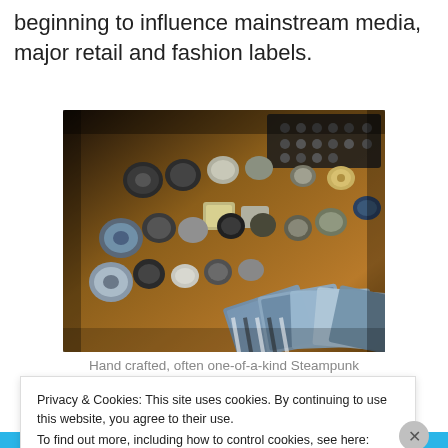beginning to influence mainstream media, major retail and fashion labels.
[Figure (photo): Overhead view of a wooden table covered with numerous hand-crafted steampunk buttons, badges, and accessories of various sizes, along with decorative cards fanned out in the foreground, displayed in a dimly lit, warm-toned setting.]
Hand crafted, often one-of-a-kind Steampunk
Privacy & Cookies: This site uses cookies. By continuing to use this website, you agree to their use.
To find out more, including how to control cookies, see here: Cookie Policy